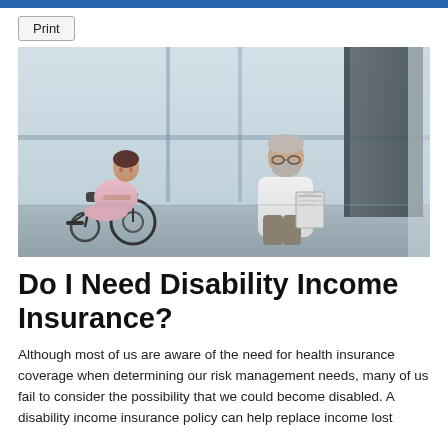Print
[Figure (photo): A woman in a pink outfit sitting in a wheelchair in a hospital corridor, consulting with a male doctor in a white coat who is holding a clipboard.]
Do I Need Disability Income Insurance?
Although most of us are aware of the need for health insurance coverage when determining our risk management needs, many of us fail to consider the possibility that we could become disabled. A disability income insurance policy can help replace income lost